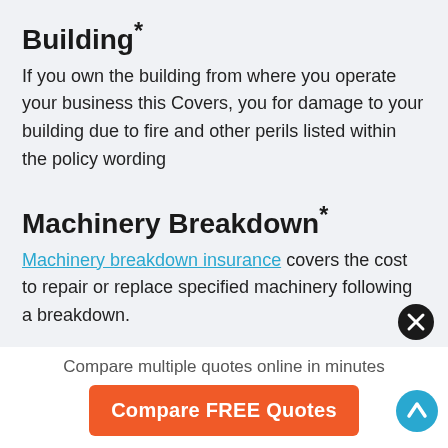Building*
If you own the building from where you operate your business this Covers, you for damage to your building due to fire and other perils listed within the policy wording
Machinery Breakdown*
Machinery breakdown insurance covers the cost to repair or replace specified machinery following a breakdown.
Compare multiple quotes online in minutes
Compare FREE Quotes